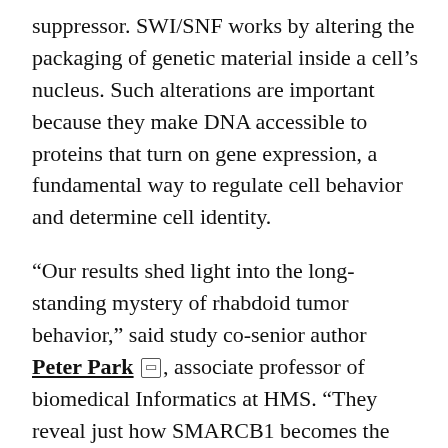suppressor. SWI/SNF works by altering the packaging of genetic material inside a cell's nucleus. Such alterations are important because they make DNA accessible to proteins that turn on gene expression, a fundamental way to regulate cell behavior and determine cell identity.
“Our results shed light into the long-standing mystery of rhabdoid tumor behavior,” said study co-senior author Peter Park, associate professor of biomedical Informatics at HMS. “They reveal just how SMARCB1 becomes the central character that unleashes mischief in a twisted plot of epigenetic changes that alter cell identity and fuel cancer formation.”